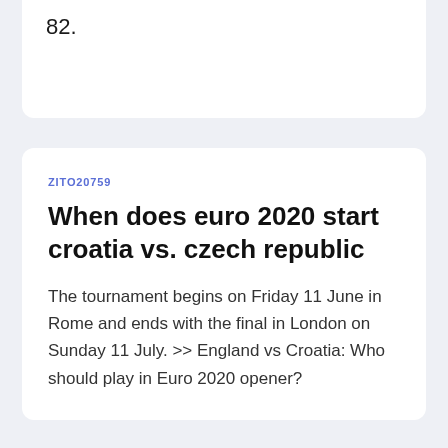82.
ZITO20759
When does euro 2020 start croatia vs. czech republic
The tournament begins on Friday 11 June in Rome and ends with the final in London on Sunday 11 July. >> England vs Croatia: Who should play in Euro 2020 opener?